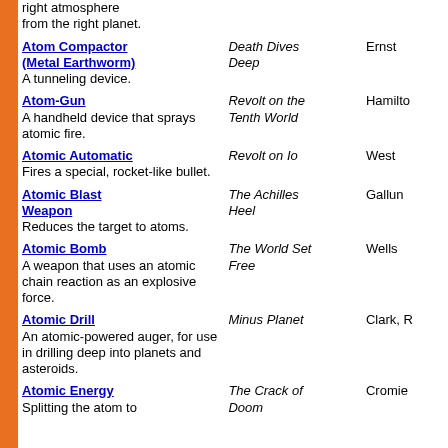right atmosphere from the right planet.
Atom Compactor (Metal Earthworm) - A tunneling device. | Death Dives Deep | Ernst
Atom-Gun - A handheld device that sprays atomic fire. | Revolt on the Tenth World | Hamilton
Atomic Automatic - Fires a special, rocket-like bullet. | Revolt on Io | West
Atomic Blast Weapon - Reduces the target to atoms. | The Achilles Heel | Gallun
Atomic Bomb - A weapon that uses an atomic chain reaction as an explosive force. | The World Set Free | Wells
Atomic Drill - An atomic-powered auger, for use in drilling deep into planets and asteroids. | Minus Planet | Clark, R
Atomic Energy - Splitting the atom to... | The Crack of Doom | Cromie